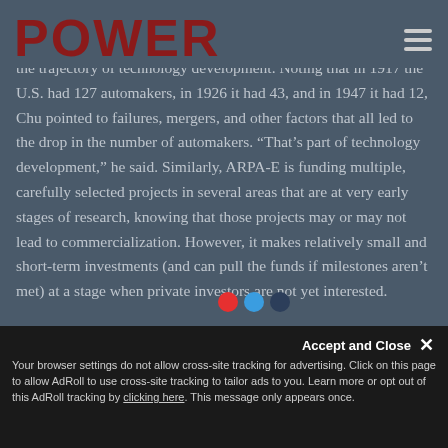POWER
the trajectory of technology development. Noting that in 1917 the U.S. had 127 automakers, in 1926 it had 43, and in 1947 it had 12, Chu pointed to failures, mergers, and other factors that all led to the drop in the number of automakers. “That’s part of technology development,” he said. Similarly, ARPA-E is funding multiple, carefully selected projects in several areas that are at very early stages of research, knowing that those projects may or may not lead to commercialization. However, it makes relatively small and short-term investments (and can pull the funds if milestones aren’t met) at a stage when private investors are not yet interested.
Chu also addressed climate change, looking at it with
Your browser settings do not allow cross-site tracking for advertising. Click on this page to allow AdRoll to use cross-site tracking to tailor ads to you. Learn more or opt out of this AdRoll tracking by clicking here. This message only appears once.